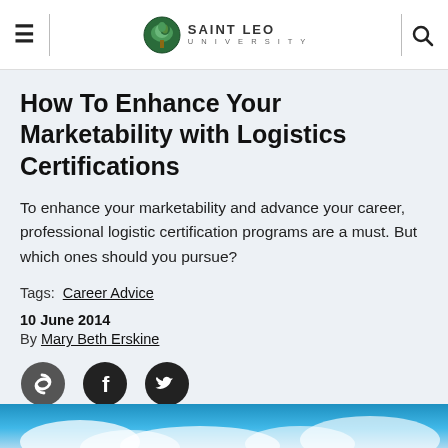Saint Leo University
How To Enhance Your Marketability with Logistics Certifications
To enhance your marketability and advance your career, professional logistic certification programs are a must. But which ones should you pursue?
Tags:  Career Advice
10 June 2014
By Mary Beth Erskine
[Figure (other): Social sharing icons: link/copy, Facebook, Twitter]
[Figure (photo): Blue sky with clouds, partial image at bottom of page]